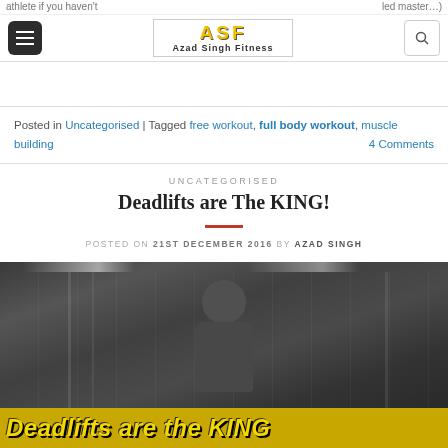Azad Singh Fitness — Navigation bar with menu button, logo, and search
Posted in Uncategorised | Tagged free workout, full body workout, muscle building — 4 Comments
UNCATEGORISED
Deadlifts are The KING!
POSTED ON 21ST DECEMBER 2016 BY AZAD SINGH
[Figure (photo): Black and white photo of a bearded man in a gym with the text 'Deadlifts are the KING' overlaid on a yellow/gold banner at the bottom]